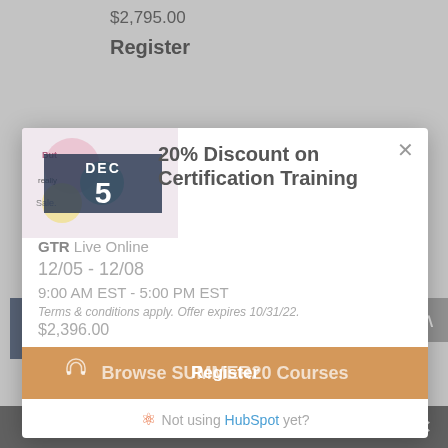$2,795.00
Register
[Figure (screenshot): Modal popup overlay showing 20% Discount on GTR Certification Training promotional offer with a decorative image, DEC 5 calendar date badge, date range 12/05-12/08, time 9:00 AM EST - 5:00 PM EST, price $2,396.00, and an orange CTA button with 'Browse SUMMER20 Courses' and 'Register' text. Below shows HubSpot branding 'Not using HubSpot yet?']
GTR Live Online
01/16 - 01/19
9:00 AM EST - 5:00 PM EST
$2,396.00
Share This ∨  ✕